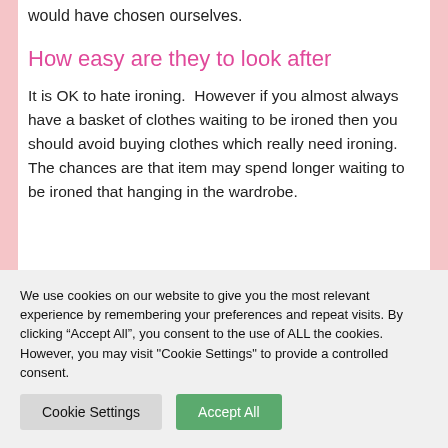would have chosen ourselves.
How easy are they to look after
It is OK to hate ironing.  However if you almost always have a basket of clothes waiting to be ironed then you should avoid buying clothes which really need ironing. The chances are that item may spend longer waiting to be ironed that hanging in the wardrobe.
We use cookies on our website to give you the most relevant experience by remembering your preferences and repeat visits. By clicking “Accept All”, you consent to the use of ALL the cookies. However, you may visit "Cookie Settings" to provide a controlled consent.
Cookie Settings
Accept All